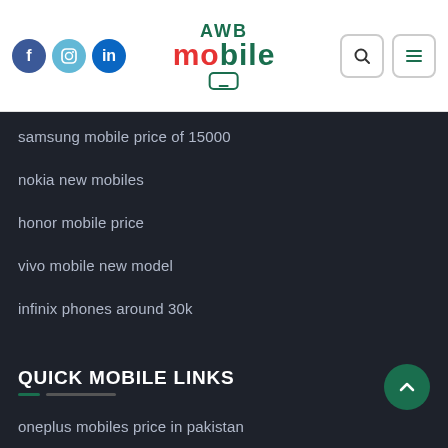AWB Mobile — header with social icons (Facebook, Instagram, LinkedIn), logo, search and menu buttons
samsung mobile price of 15000
nokia new mobiles
honor mobile price
vivo mobile new model
infinix phones around 30k
QUICK MOBILE LINKS
oneplus mobiles price in pakistan
honor mobiles price in pakistan